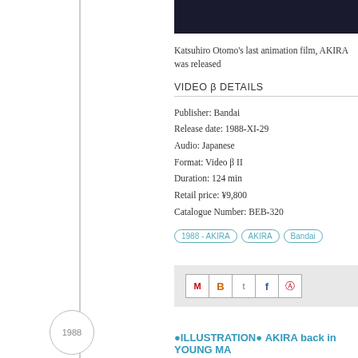[Figure (photo): Dark image bar at top, partial screenshot of AKIRA film]
Katsuhiro Otomo's last animation film, AKIRA was released
VIDEO β DETAILS
Publisher: Bandai
Release date: 1988-XI-29
Audio: Japanese
Format: Video β II
Duration: 124 min
Retail price: ¥9,800
Catalogue Number: BEB-320
Tags: 1988 - AKIRA | AKIRA | Bandai
[Figure (screenshot): Social sharing bar with Gmail, Blogger, Twitter, Facebook, Pinterest icons]
1988
●ILLUSTRATION● AKIRA back in YOUNG MA